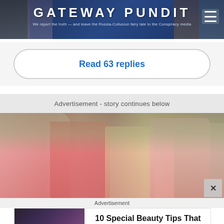[Figure (logo): Gateway Pundit website header/logo with dark blue background, title text GATEWAY PUNDIT in white, subtitle 'We report the truth — and leave the Russia-Collusion fairy tale to the Conspiracy media', and hamburger menu icon]
Read 63 replies
Advertisement - story continues below
[Figure (photo): Group of women in pink athletic wear jogging outdoors, with trees in background. A close X button appears in the bottom right corner.]
Advertisement
[Figure (photo): Advertisement card showing a woman in colorful clothing on the left, with text '10 Special Beauty Tips That Make Indian Women So Beautiful' and source 'Herbeauty']